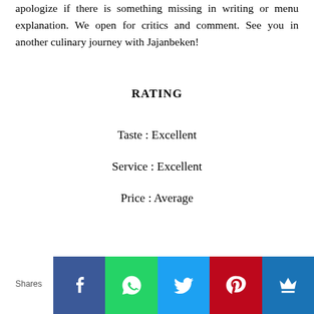apologize if there is something missing in writing or menu explanation. We open for critics and comment. See you in another culinary journey with Jajanbeken!
RATING
Taste : Excellent
Service : Excellent
Price : Average
Shares
[Figure (infographic): Social share buttons: Facebook (blue), WhatsApp (green), Twitter (light blue), Pinterest (red), Email/crown (dark blue)]